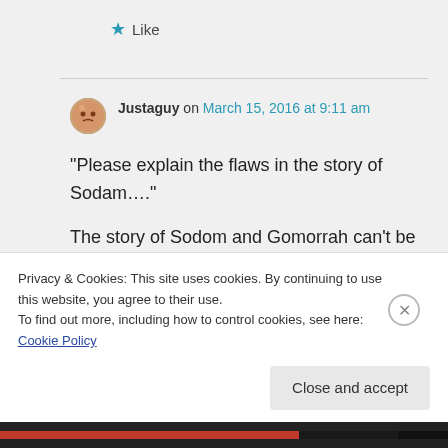★ Like
Justaguy on March 15, 2016 at 9:11 am
“Please explain the flaws in the story of Sodam….”

The story of Sodom and Gomorrah can't be about consensual
Privacy & Cookies: This site uses cookies. By continuing to use this website, you agree to their use.
To find out more, including how to control cookies, see here: Cookie Policy
Close and accept